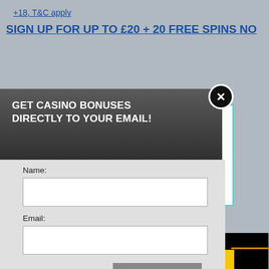+18, T&C apply
SIGN UP FOR UP TO £20 + 20 FREE SPINS NO
[Figure (screenshot): Popup modal with dark gray header reading 'GET CASINO BONUSES DIRECTLY TO YOUR EMAIL!' and a form with Name and Email fields, a Submit button, and fine print about privacy policy. Background shows partial casino website with cookie notice.]
GET CASINO BONUSES DIRECTLY TO YOUR EMAIL!
Name:
Email:
Submit
By subscribing you are certifying that you have reviewed and accepted our updated Privacy and Cookie policy.